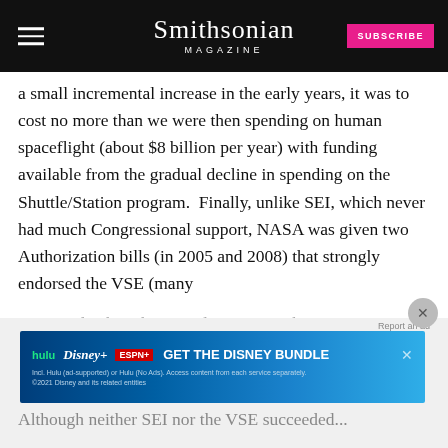Smithsonian MAGAZINE
a small incremental increase in the early years, it was to cost no more than we were then spending on human spaceflight (about $8 billion per year) with funding available from the gradual decline in spending on the Shuttle/Station program.  Finally, unlike SEI, which never had much Congressional support, NASA was given two Authorization bills (in 2005 and 2008) that strongly endorsed the VSE (many VSE goals, though ignored, remain in the current 2010 A...
Although neither SEI nor the VSE succeeded...